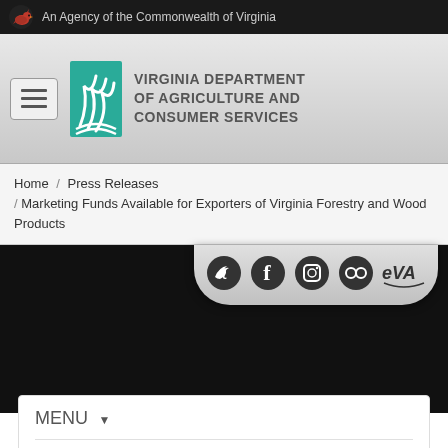An Agency of the Commonwealth of Virginia
[Figure (logo): Virginia Department of Agriculture and Consumer Services logo with teal leaf graphic]
VIRGINIA DEPARTMENT OF AGRICULTURE AND CONSUMER SERVICES
Home / Press Releases / Marketing Funds Available for Exporters of Virginia Forestry and Wood Products
[Figure (infographic): Social media icons: Twitter, Facebook, Instagram, Flickr, eVA]
MENU